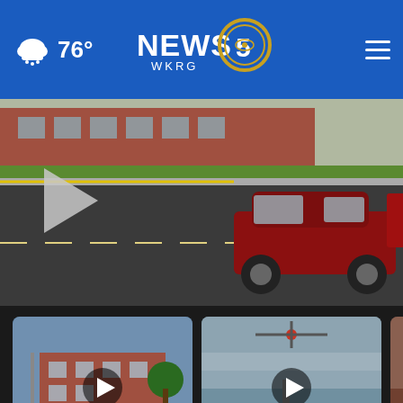NEWS 5 WKRG — 76° weather — navigation header
[Figure (screenshot): Main video player showing a red SUV on a road near a school building, with a large play button overlay]
[Figure (screenshot): Thumbnail: Cassville School District returning corporal [punishment] — 2 days ago]
[Figure (screenshot): Thumbnail: Crews, passengers rescued before yacht... — 18 hours ago]
[Figure (screenshot): Partial thumbnail: Christ... Gray/T...]
Cassville School District returning "corporal..."
2 days ago
Crews, passengers rescued before yacht...
18 hours ago
Christ Gray/T...
Mor
Sterling OPEN | 9AM–8PM
22000 Dulles Retail Plaza, #110, S...